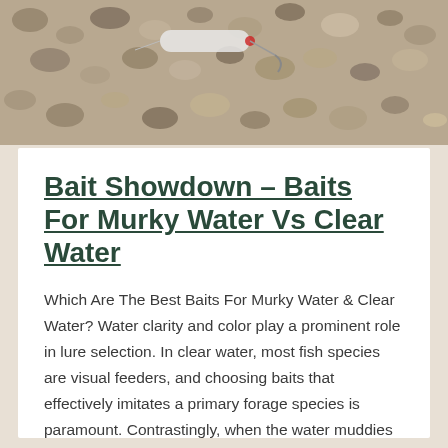[Figure (photo): Fishing lures and hooks resting on pebbly gravel ground]
Bait Showdown – Baits For Murky Water Vs Clear Water
Which Are The Best Baits For Murky Water & Clear Water? Water clarity and color play a prominent role in lure selection. In clear water, most fish species are visual feeders, and choosing baits that effectively imitates a primary forage species is paramount. Contrastingly, when the water muddies up, fish rely more on their lateral line to detect prey, and the …
Read More